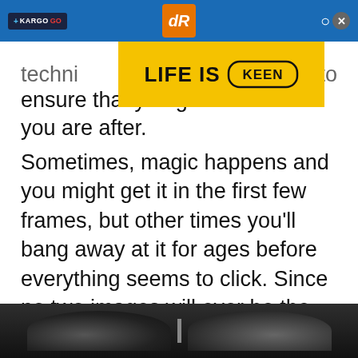+ KARGO GO | dR | [search] [close]
[Figure (screenshot): Yellow advertisement banner reading LIFE IS KEEN with Keen logo]
techni... to ensure that you get the result you are after.
Sometimes, magic happens and you might get it in the first few frames, but other times you’ll bang away at it for ages before everything seems to click. Since no two images will ever be the same, don’t be afraid to keep going until you’re confident with the result.
Step 8: Keep experimenting.
[Figure (photo): Black and white photo at bottom of page showing person/people]